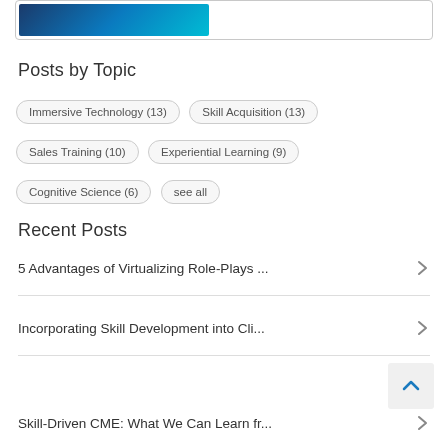[Figure (photo): Partial image visible at top with blue/teal gradient, likely a technology or VR-related photo, inside a bordered card]
Posts by Topic
Immersive Technology (13)
Skill Acquisition (13)
Sales Training (10)
Experiential Learning (9)
Cognitive Science (6)
see all
Recent Posts
5 Advantages of Virtualizing Role-Plays ...
Incorporating Skill Development into Cli...
Skill-Driven CME: What We Can Learn fr...